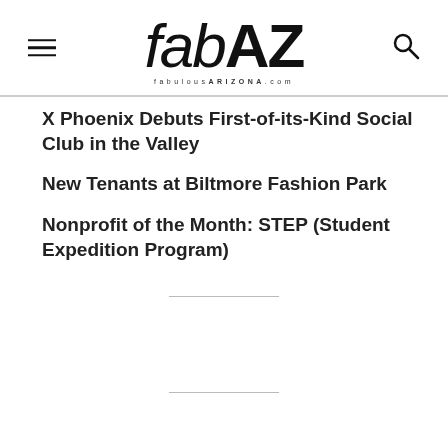[Figure (logo): fabAZ logo with 'fabulousARIZONA.com' subtitle and hamburger menu icon on left, search icon on right]
X Phoenix Debuts First-of-its-Kind Social Club in the Valley
New Tenants at Biltmore Fashion Park
Nonprofit of the Month: STEP (Student Expedition Program)